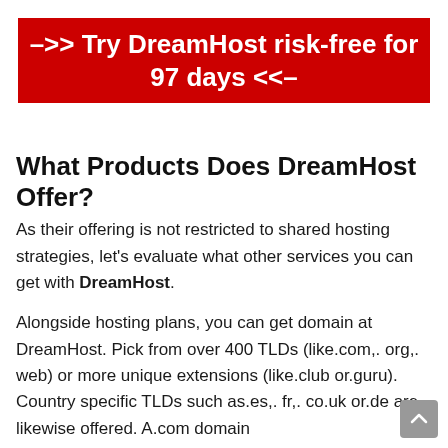–>> Try DreamHost risk-free for 97 days <<–
What Products Does DreamHost Offer?
As their offering is not restricted to shared hosting strategies, let's evaluate what other services you can get with DreamHost.
Alongside hosting plans, you can get domain at DreamHost. Pick from over 400 TLDs (like.com,. org,. web) or more unique extensions (like.club or.guru). Country specific TLDs such as.es,. fr,. co.uk or.de are likewise offered. A.com domain